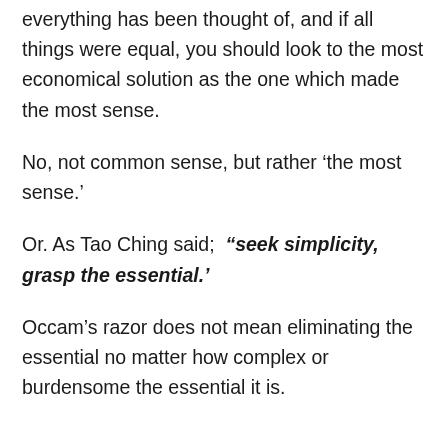everything has been thought of, and if all things were equal, you should look to the most economical solution as the one which made the most sense.
No, not common sense, but rather ‘the most sense.’
Or. As Tao Ching said; “seek simplicity, grasp the essential.’
Occam’s razor does not mean eliminating the essential no matter how complex or burdensome the essential it is.